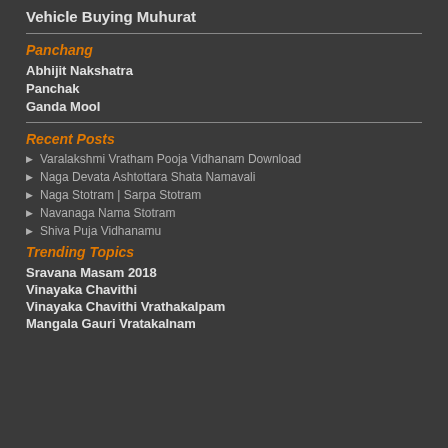Vehicle Buying Muhurat
Panchang
Abhijit Nakshatra
Panchak
Ganda Mool
Recent Posts
Varalakshmi Vratham Pooja Vidhanam Download
Naga Devata Ashtottara Shata Namavali
Naga Stotram | Sarpa Stotram
Navanaga Nama Stotram
Shiva Puja Vidhanamu
Trending Topics
Sravana Masam 2018
Vinayaka Chavithi
Vinayaka Chavithi Vrathakalpam
Mangala Gauri Vratakalnam